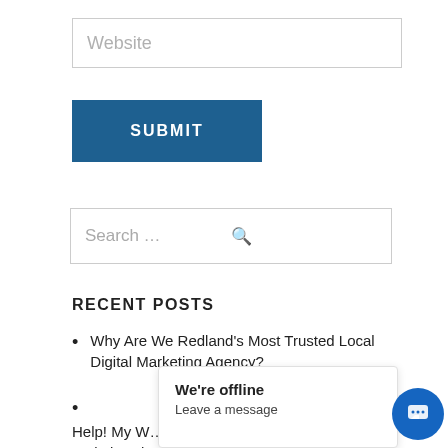Website
SUBMIT
Search ...
RECENT POSTS
Why Are We Redland's Most Trusted Local Digital Marketing Agency?
Help! My W... Website Cl...
We're offline
Leave a message